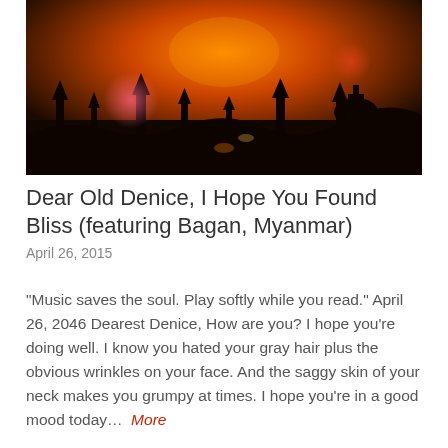[Figure (photo): Sunset landscape over Bagan, Myanmar temple silhouettes with warm orange and red hues and lens flare]
Dear Old Denice, I Hope You Found Bliss (featuring Bagan, Myanmar)
April 26, 2015
“Music saves the soul. Play softly while you read.” April 26, 2046 Dearest Denice, How are you? I hope you’re doing well. I know you hated your gray hair plus the obvious wrinkles on your face. And the saggy skin of your neck makes you grumpy at times. I hope you’re in a good mood today… More